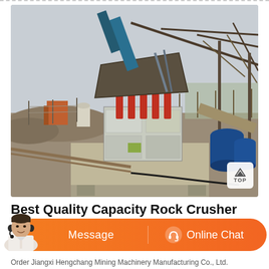[Figure (photo): Outdoor industrial rock crusher machine on a concrete platform, with steel frame structure overhead, metal conveyor, hydraulic components, piping, and surrounding earthen mounds in overcast daylight.]
Best Quality Capacity Rock Crusher
Message   Online Chat
Order Jiangxi Hengchang Mining Machinery Manufacturing Co., Ltd.